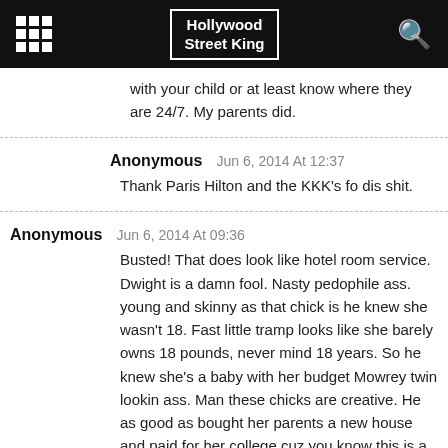Hollywood Street King
with your child or at least know where they are 24/7. My parents did.
Anonymous   Jun 6, 2014 At 12:37
Thank Paris Hilton and the KKK's fo dis shit.
Anonymous   Jun 6, 2014 At 09:36
Busted! That does look like hotel room service. Dwight is a damn fool. Nasty pedophile ass. young and skinny as that chick is he knew she wasn't 18. Fast little tramp looks like she barely owns 18 pounds, never mind 18 years. So he knew she's a baby with her budget Mowrey twin lookin ass. Man these chicks are creative. He as good as bought her parents a new house and paid for her college cuz you know this is a “settlement” situation. Damn , I had a paper